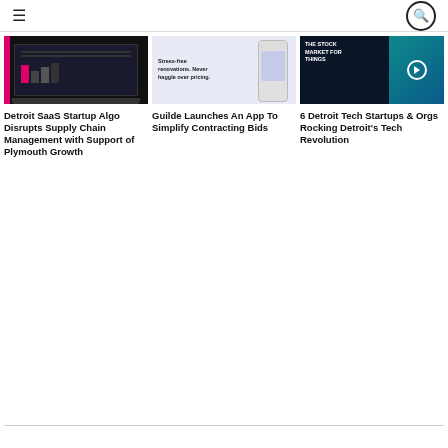≡  🔍
[Figure (screenshot): Dark-themed laptop screen showing a SaaS dashboard with pink/red bar chart]
[Figure (screenshot): Mobile app screenshot on light purple background with text: Stress-free renovations. Never haggle over pricing.]
[Figure (screenshot): Dark blue/teal banner: THE STOCK MARKET FOR THINGS with play button]
Detroit SaaS Startup Algo Disrupts Supply Chain Management with Support of Plymouth Growth
Guilde Launches An App To Simplify Contracting Bids
6 Detroit Tech Startups & Orgs Rocking Detroit's Tech Revolution